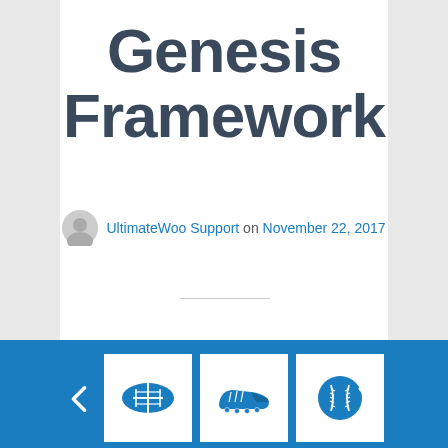Genesis Framework
UltimateWoo Support on November 22, 2017
[Figure (screenshot): Blue section with three white cards each containing sport icons: a football, a cleat/shoe, and a baseball. Left and right chevron arrows on either side.]